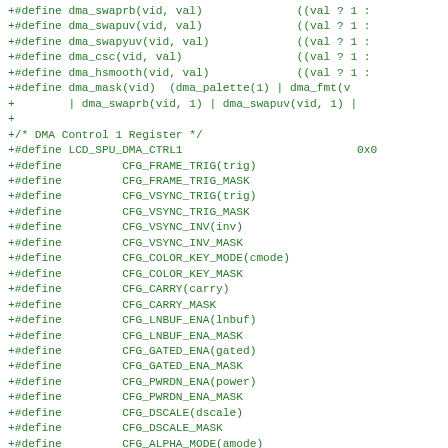[Figure (screenshot): Source code diff snippet showing C preprocessor macro definitions in green monospace font on white background. Defines DMA control macros (dma_swaprb, dma_swapuv, dma_swapyuv, dma_csc, dma_hsmooth, dma_mask) and LCD_SPU_DMA_CTRL1 register bit field macros (CFG_FRAME_TRIG, CFG_VSYNC_TRIG, CFG_VSYNC_INV, CFG_COLOR_KEY_MODE, CFG_CARRY, CFG_LNBUF_ENA, CFG_GATED_ENA, CFG_PWRDN_ENA, CFG_DSCALE, CFG_ALPHA_MODE, CFG_ALPHA_MODE_MASK, CFG_ALPHA).]